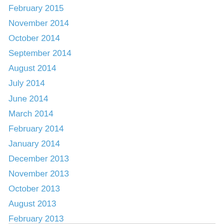February 2015
November 2014
October 2014
September 2014
August 2014
July 2014
June 2014
March 2014
February 2014
January 2014
December 2013
November 2013
October 2013
August 2013
February 2013
December 2012
September 2012
June 2012